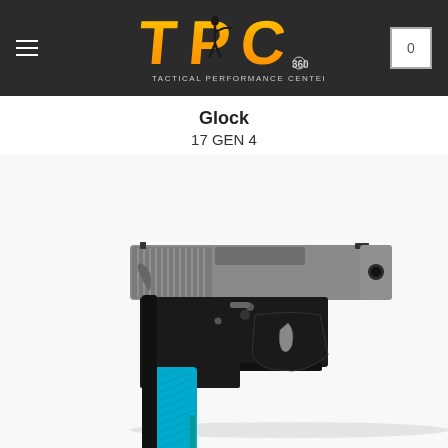[Figure (logo): TPC Tactical Performance Center 360 logo with golden text and silhouette of shooter on dark background]
Glock
17 GEN 4
[Figure (photo): CZ Shadow pistol with teal/blue grip panels and two-tone silver and black finish, photographed on white background]